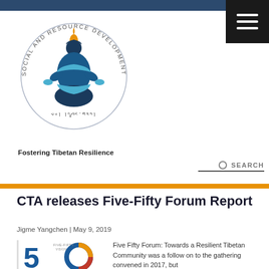[Figure (logo): Social and Resource Development Fund circular logo with Tibetan vase/deity figure in center, SOCIAL AND RESOURCE DEVELOPMENT FUND text around perimeter, Tibetan script below]
Fostering Tibetan Resilience
SEARCH
CTA releases Five-Fifty Forum Report
Jigme Yangchen | May 9, 2019
[Figure (logo): Five-Fifty Vision logo with large stylized '5' and '0' in blue and red/orange]
Five Fifty Forum: Towards a Resilient Tibetan Community was a follow on to the gathering convened in 2017, but